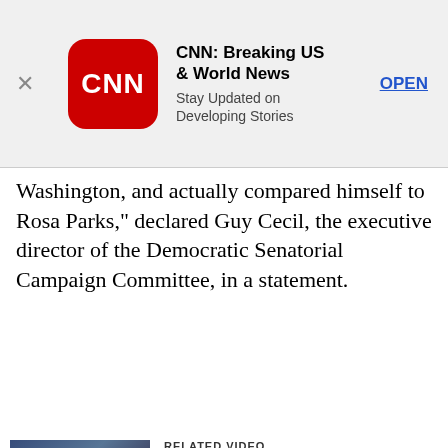[Figure (screenshot): CNN app advertisement banner with CNN logo, title 'CNN: Breaking US & World News', subtitle 'Stay Updated on Developing Stories', and OPEN button]
Washington, and actually compared himself to Rosa Parks," declared Guy Cecil, the executive director of the Democratic Senatorial Campaign Committee, in a statement.
[Figure (screenshot): Related video thumbnail showing press conference - Mourdock discusses Ind. GOP primary win]
RELATED VIDEO Mourdock discusses Ind. GOP primary win
[Figure (screenshot): Related video thumbnail showing Lugar at podium - Lugar: My service isn't concluded]
RELATED VIDEO Lugar: My service isn't concluded
[Figure (screenshot): Related video thumbnail - Dick Lugar reflects on his Senate career]
RELATED VIDEO Dick Lugar reflects on his Senate career